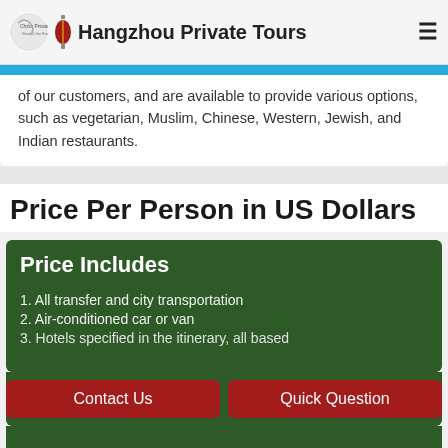Hangzhou Private Tours
of our customers, and are available to provide various options, such as vegetarian, Muslim, Chinese, Western, Jewish, and Indian restaurants.
Price Per Person in US Dollars
Price Includes
1. All transfer and city transportation
2. Air-conditioned car or van
3. Hotels specified in the itinerary, all based